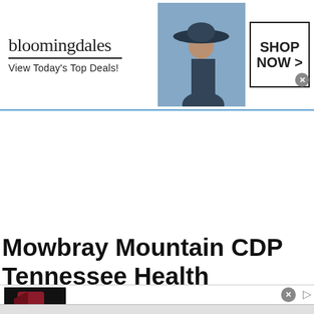[Figure (illustration): Bloomingdales advertisement banner: logo text 'bloomingdales', tagline 'View Today's Top Deals!', image of woman in large hat, 'SHOP NOW >' button in bordered box]
Mowbray Mountain CDP Tennessee Health Insurance Charts
[Figure (illustration): NFL Shop advertisement: NFL logo with red shape on dark background, 'SHOP NOW' button, 'NFL Shop' title in blue, 'Free shipping on orders over $25', 'www.nflshop.com', blue circular arrow button]